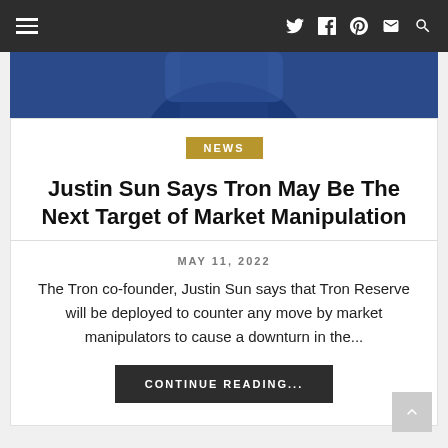Navigation bar with hamburger menu and social icons (Twitter, Facebook, Pinterest, Mail, Search)
[Figure (photo): Hero image showing a person in a blue jacket, cropped]
NEWS
Justin Sun Says Tron May Be The Next Target of Market Manipulation
MAY 11, 2022
The Tron co-founder, Justin Sun says that Tron Reserve will be deployed to counter any move by market manipulators to cause a downturn in the...
CONTINUE READING...